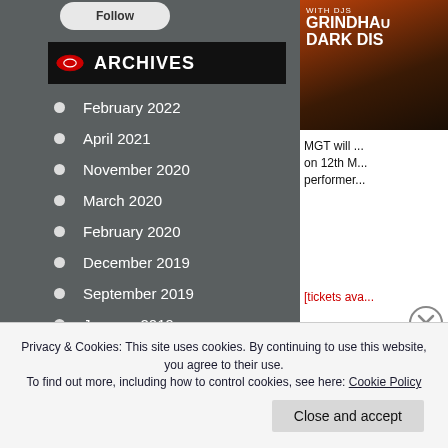ARCHIVES
February 2022
April 2021
November 2020
March 2020
February 2020
December 2019
September 2019
January 2019
October 2018
August 2018
March 2018
[Figure (photo): Event poster with text: WITH DJS, GRINDHAUS, DARK DIS]
MGT will ... on 12th M... performer...
[tickets ava...
Privacy & Cookies: This site uses cookies. By continuing to use this website, you agree to their use. To find out more, including how to control cookies, see here: Cookie Policy
Close and accept